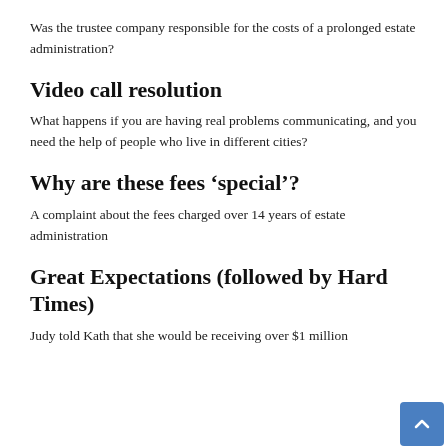Was the trustee company responsible for the costs of a prolonged estate administration?
Video call resolution
What happens if you are having real problems communicating, and you need the help of people who live in different cities?
Why are these fees ‘special’?
A complaint about the fees charged over 14 years of estate administration
Great Expectations (followed by Hard Times)
Judy told Kath that she would be receiving over $1 million